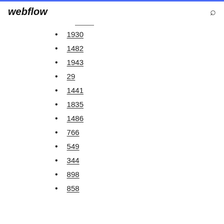webflow
1930
1482
1943
29
1441
1835
1486
766
549
344
898
858